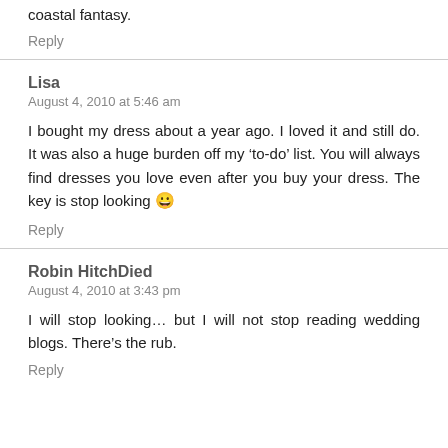coastal fantasy.
Reply
Lisa
August 4, 2010 at 5:46 am
I bought my dress about a year ago. I loved it and still do. It was also a huge burden off my ‘to-do’ list. You will always find dresses you love even after you buy your dress. The key is stop looking 😀
Reply
Robin HitchDied
August 4, 2010 at 3:43 pm
I will stop looking... but I will not stop reading wedding blogs. There’s the rub.
Reply